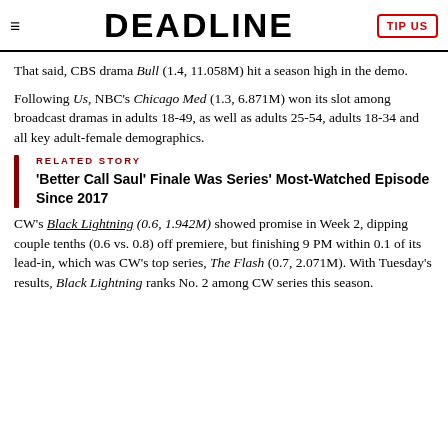DEADLINE
That said, CBS drama Bull (1.4, 11.058M) hit a season high in the demo.
Following Us, NBC's Chicago Med (1.3, 6.871M) won its slot among broadcast dramas in adults 18-49, as well as adults 25-54, adults 18-34 and all key adult-female demographics.
RELATED STORY
'Better Call Saul' Finale Was Series' Most-Watched Episode Since 2017
CW's Black Lightning (0.6, 1.942M) showed promise in Week 2, dipping couple tenths (0.6 vs. 0.8) off premiere, but finishing 9 PM within 0.1 of its lead-in, which was CW's top series, The Flash (0.7, 2.071M). With Tuesday's results, Black Lightning ranks No. 2 among CW series this season.